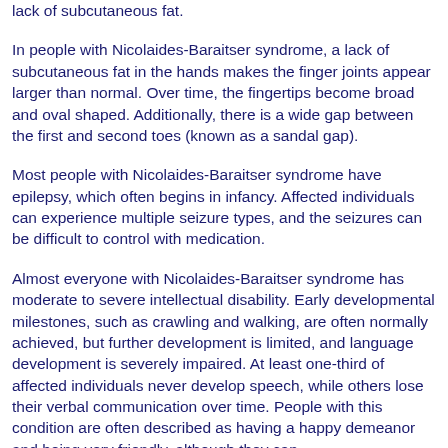lack of subcutaneous fat.
In people with Nicolaides-Baraitser syndrome, a lack of subcutaneous fat in the hands makes the finger joints appear larger than normal. Over time, the fingertips become broad and oval shaped. Additionally, there is a wide gap between the first and second toes (known as a sandal gap).
Most people with Nicolaides-Baraitser syndrome have epilepsy, which often begins in infancy. Affected individuals can experience multiple seizure types, and the seizures can be difficult to control with medication.
Almost everyone with Nicolaides-Baraitser syndrome has moderate to severe intellectual disability. Early developmental milestones, such as crawling and walking, are often normally achieved, but further development is limited, and language development is severely impaired. At least one-third of affected individuals never develop speech, while others lose their verbal communication over time. People with this condition are often described as having a happy demeanor and being very friendly, although they can